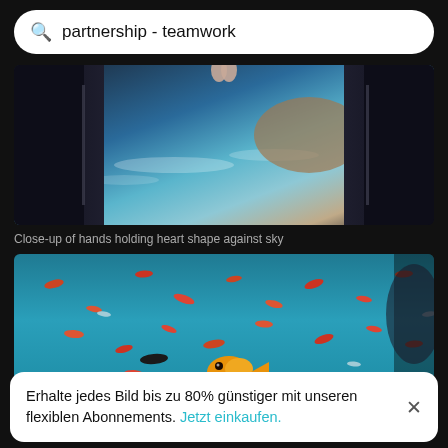partnership - teamwork
[Figure (photo): Close-up photo showing hands from two people in dark jackets seeming to touch over a blurred ocean/coastal background with blue water and rocky shore]
Close-up of hands holding heart shape against sky
[Figure (photo): Underwater photo showing many small orange/red fish and one larger yellow fish swimming in turquoise blue water]
Erhalte jedes Bild bis zu 80% günstiger mit unseren flexiblen Abonnements. Jetzt einkaufen.